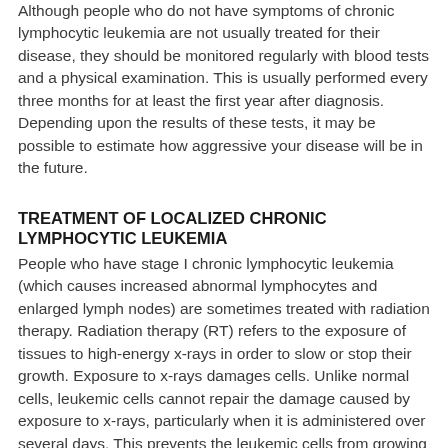Although people who do not have symptoms of chronic lymphocytic leukemia are not usually treated for their disease, they should be monitored regularly with blood tests and a physical examination. This is usually performed every three months for at least the first year after diagnosis. Depending upon the results of these tests, it may be possible to estimate how aggressive your disease will be in the future.
TREATMENT OF LOCALIZED CHRONIC LYMPHOCYTIC LEUKEMIA
People who have stage I chronic lymphocytic leukemia (which causes increased abnormal lymphocytes and enlarged lymph nodes) are sometimes treated with radiation therapy. Radiation therapy (RT) refers to the exposure of tissues to high-energy x-rays in order to slow or stop their growth. Exposure to x-rays damages cells. Unlike normal cells, leukemic cells cannot repair the damage caused by exposure to x-rays, particularly when it is administered over several days. This prevents the leukemic cells from growing further and causes them to eventually die. (See "Initial treatment of chronic lymphocytic leukemia".)